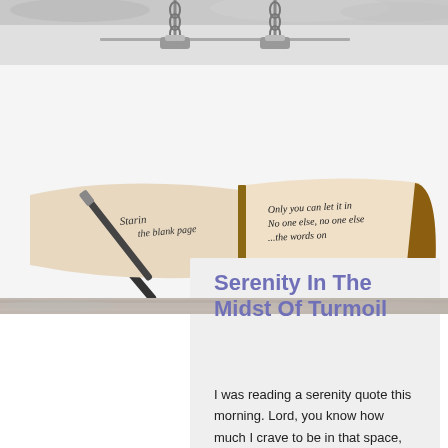[Figure (photo): Decorative chain/clip at top of page with metallic chain links and clips on a light background]
[Figure (photo): Open journal/diary book with handwritten text reading 'Staring at the blank page' on left and 'Only you can let it in / No one else, no one else / ...the words on' on right page, with a pen resting on it]
Serenity In The Midst Of Turmoil
I was reading a serenity quote this morning. Lord, you know how much I crave to be in that space, that place